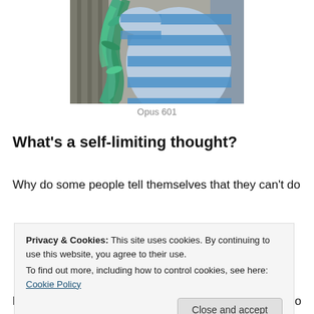[Figure (photo): A person wearing a blue and white striped shirt holding green leafy decorative material, photographed from behind/side, with a fence visible in the background.]
Opus 601
What's a self-limiting thought?
Why do some people tell themselves that they can't do something, and then do it is? Is a fear of self-
knit because she was unteachable. Lots of people who
Privacy & Cookies: This site uses cookies. By continuing to use this website, you agree to their use. To find out more, including how to control cookies, see here: Cookie Policy
Close and accept